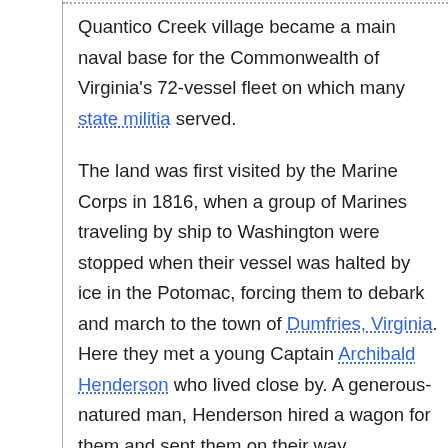Quantico Creek village became a main naval base for the Commonwealth of Virginia's 72-vessel fleet on which many state militia served.
The land was first visited by the Marine Corps in 1816, when a group of Marines traveling by ship to Washington were stopped when their vessel was halted by ice in the Potomac, forcing them to debark and march to the town of Dumfries, Virginia. Here they met a young Captain Archibald Henderson who lived close by. A generous-natured man, Henderson hired a wagon for them and sent them on their way.
During the Civil War, control of the Potomac River became very important to both sides of the two armies. The Confederate raided the Quantico...